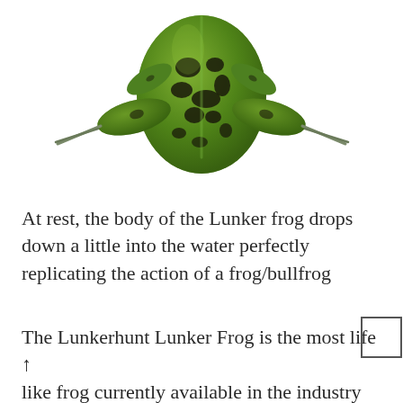[Figure (photo): Top-down view of a green Lunker frog fishing lure with black spots, showing the body and extended legs against a white background.]
At rest, the body of the Lunker frog drops down a little into the water perfectly replicating the action of a frog/bullfrog
The Lunkerhunt Lunker Frog is the most life like frog currently available in the industry